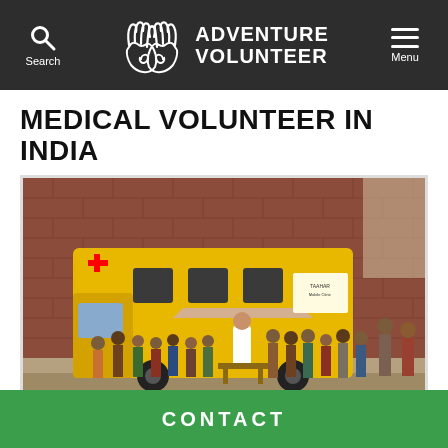Adventure Volunteer — Search | Menu
MEDICAL VOLUNTEER IN INDIA
[Figure (photo): A yellow mobile medical unit (ambulance/clinic van with red cross) parked outdoors against a brick wall. A doctor in a white coat stands at a table outside the van, surrounded by a crowd of children and adults waiting in line for medical attention. The ground is dry and dusty with scattered debris and sparse vegetation.]
CONTACT